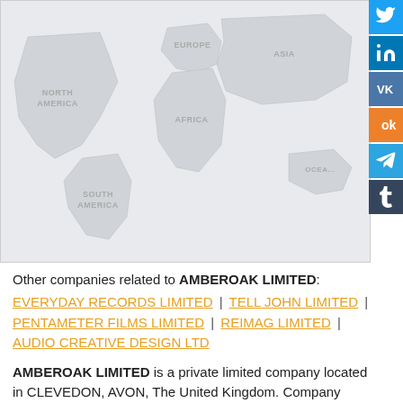[Figure (map): World map showing continents labeled: NORTH AMERICA, EUROPE, AFRICA, SOUTH AMERICA, ASIA, OCEANIA. Light gray background with faint continent outlines.]
Other companies related to AMBEROAK LIMITED:
EVERYDAY RECORDS LIMITED | TELL JOHN LIMITED | PENTAMETER FILMS LIMITED | REIMAG LIMITED | AUDIO CREATIVE DESIGN LTD
AMBEROAK LIMITED is a private limited company located in CLEVEDON, AVON, The United Kingdom. Company